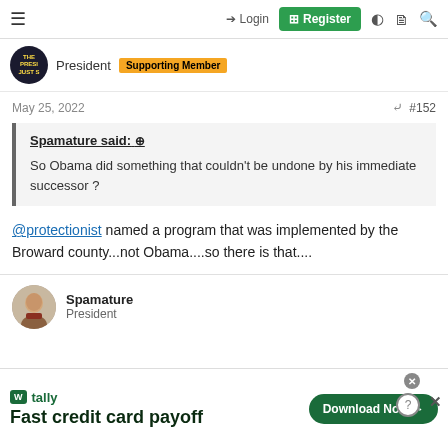≡  → Login  ⊕ Register
President  Supporting Member
May 25, 2022  #152
Spamature said: ↑
So Obama did something that couldn't be undone by his immediate successor ?
@protectionist named a program that was implemented by the Broward county...not Obama....so there is that....
Spamature
President
[Figure (screenshot): Advertisement banner for Tally app — Fast credit card payoff — Download Now button]